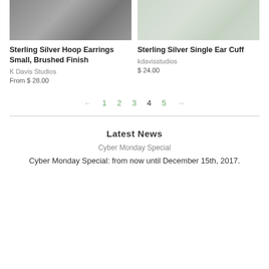[Figure (photo): Product photo for Sterling Silver Hoop Earrings Small, Brushed Finish - grey brushed metal texture]
Sterling Silver Hoop Earrings Small, Brushed Finish
K Davis Studios
From $ 28.00
[Figure (photo): Product photo for Sterling Silver Single Ear Cuff - light grey/white textured surface]
Sterling Silver Single Ear Cuff
kdavisstudios
$ 24.00
← 1 2 3 4 5 →
Latest News
Cyber Monday Special
Cyber Monday Special: from now until December 15th, 2017.